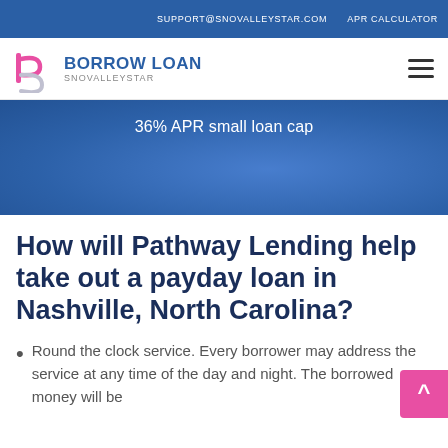SUPPORT@SNOVALLEYSTAR.COM   APR CALCULATOR
[Figure (logo): Borrow Loan Snovalleystar logo with stylized 'b' and 'p' letters in pink/magenta and a hamburger menu icon on the right]
36% APR small loan cap
How will Pathway Lending help take out a payday loan in Nashville, North Carolina?
Round the clock service. Every borrower may address the service at any time of the day and night. The borrowed money will be